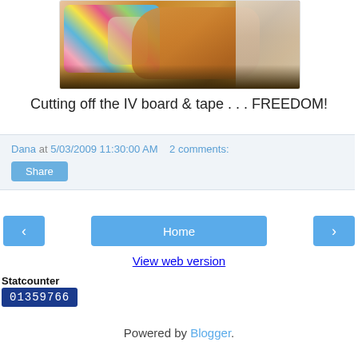[Figure (photo): A young child/baby being held, with a colorful blanket, while an adult appears to be cutting off an IV board and tape]
Cutting off the IV board & tape . . . FREEDOM!
Dana at 5/03/2009 11:30:00 AM    2 comments:
Share
< Home >
View web version
Statcounter
01359766
Powered by Blogger.